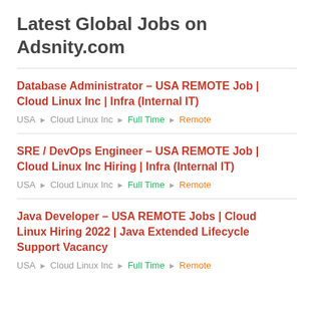Latest Global Jobs on Adsnity.com
Database Administrator – USA REMOTE Job | Cloud Linux Inc | Infra (Internal IT)
USA ▶ Cloud Linux Inc ▶ Full Time ▶ Remote
SRE / DevOps Engineer – USA REMOTE Job | Cloud Linux Inc Hiring | Infra (Internal IT)
USA ▶ Cloud Linux Inc ▶ Full Time ▶ Remote
Java Developer – USA REMOTE Jobs | Cloud Linux Hiring 2022 | Java Extended Lifecycle Support Vacancy
USA ▶ Cloud Linux Inc ▶ Full Time ▶ Remote